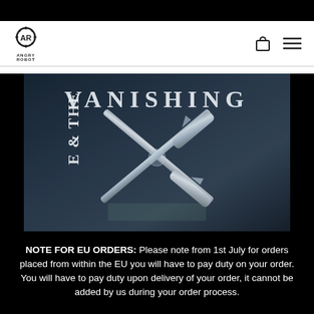[Figure (logo): Angry Robot publisher logo — stylized AR letters in a gear/circle icon with text ANGRY ROBOT below]
[Figure (photo): Book cover of 'The Vanishing Man' — dark blue-grey background with crossed flintlock pistols, title text VANISHING visible at top, partial text 'E & THE' on left spine and 'MAN' on right spine]
NOTE FOR EU ORDERS: Please note from 1st July for orders placed from within the EU you will have to pay duty on your order. You will have to pay duty upon delivery of your order, it cannot be added by us during your order process.